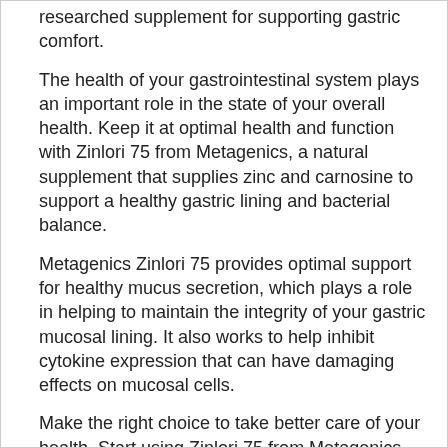researched supplement for supporting gastric comfort.
The health of your gastrointestinal system plays an important role in the state of your overall health. Keep it at optimal health and function with Zinlori 75 from Metagenics, a natural supplement that supplies zinc and carnosine to support a healthy gastric lining and bacterial balance.
Metagenics Zinlori 75 provides optimal support for healthy mucus secretion, which plays a role in helping to maintain the integrity of your gastric mucosal lining. It also works to help inhibit cytokine expression that can have damaging effects on mucosal cells.
Make the right choice to take better care of your health. Start using Zinlori 75 from Metagenics today to keep your G.I. tract protected and healthy.
Directions:
Adults: Take one tablet twice daily between meals or as directed by your healthcare practitioner.
Warning:
Do not use if pregnant or nursing. Keep out of the reach of children.